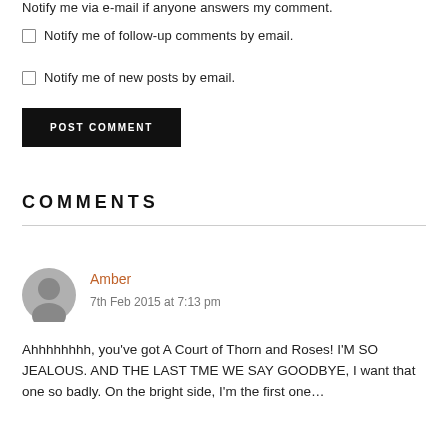Notify me via e-mail if anyone answers my comment.
Notify me of follow-up comments by email.
Notify me of new posts by email.
POST COMMENT
COMMENTS
Amber
7th Feb 2015 at 7:13 pm
Ahhhhhhhh, you've got A Court of Thorn and Roses! I'M SO JEALOUS. AND THE LAST TME WE SAY GOODBYE, I want that one so badly. On the bright side, I'm the first one…